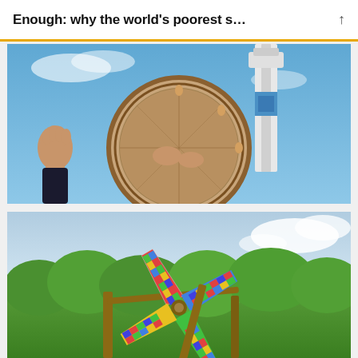Enough: why the world’s poorest s…
[Figure (photo): Photo taken from below looking up at a person holding a large round drum or tambourine above their head, with another hand raised to the left, against a blue sky with a white industrial or nautical tower structure in the background.]
[Figure (photo): Photo of a colorful patchwork-painted windmill or pinwheel sculpture made of wooden blades with a multicolored mosaic pattern of greens, blues, yellows and reds, set against green trees and a partly cloudy sky.]